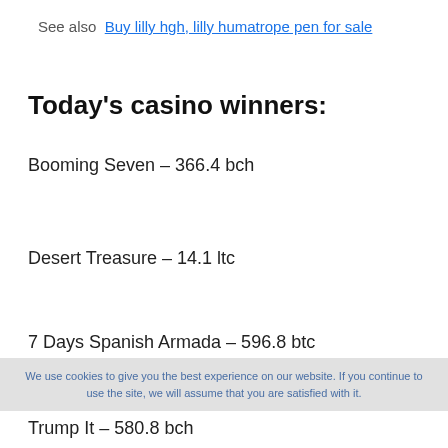See also  Buy lilly hgh, lilly humatrope pen for sale
Today’s casino winners:
Booming Seven – 366.4 bch
Desert Treasure – 14.1 ltc
7 Days Spanish Armada – 596.8 btc
Trump It – 580.8 bch
We use cookies to give you the best experience on our website. If you continue to use the site, we will assume that you are satisfied with it.